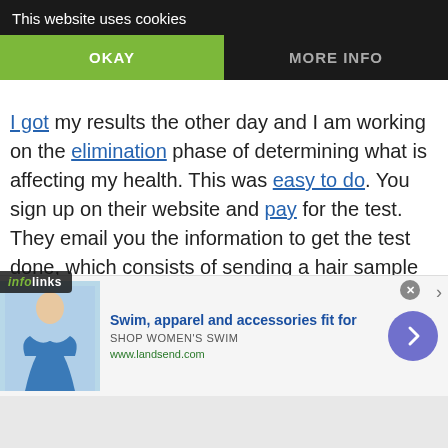[Figure (screenshot): Cookie consent banner with dark background showing 'This website uses cookies' text and two buttons: 'OKAY' (green) and 'MORE INFO' (dark)]
I got my results the other day and I am working on the elimination phase of determining what is affecting my health. This was easy to do. You sign up on their website and pay for the test. They email you the information to get the test done, which consists of sending a hair sample to them. I got an email when they received my sample and again with my results. This is a very detailed report. I thought it would just be about food sensitivities but it also includes metals, and other sections.
[Figure (infographic): Infolinks ad label bar at bottom left]
[Figure (infographic): Advertisement banner: Swim, apparel and accessories fit for — SHOP WOMEN'S SWIM — www.landsend.com, with woman in swimsuit photo and navigation arrow]